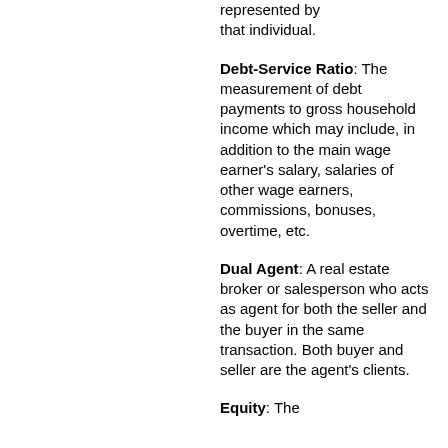represented by that individual.
Debt-Service Ratio: The measurement of debt payments to gross household income which may include, in addition to the main wage earner's salary, salaries of other wage earners, commissions, bonuses, overtime, etc.
Dual Agent: A real estate broker or salesperson who acts as agent for both the seller and the buyer in the same transaction. Both buyer and seller are the agent's clients.
Equity: The